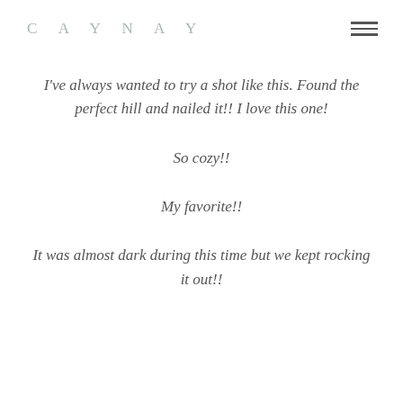CAYNAY
I've always wanted to try a shot like this. Found the perfect hill and nailed it!! I love this one!
So cozy!!
My favorite!!
It was almost dark during this time but we kept rocking it out!!